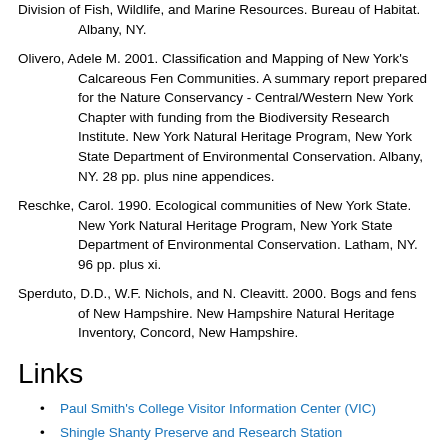Division of Fish, Wildlife, and Marine Resources. Bureau of Habitat. Albany, NY.
Olivero, Adele M. 2001. Classification and Mapping of New York's Calcareous Fen Communities. A summary report prepared for the Nature Conservancy - Central/Western New York Chapter with funding from the Biodiversity Research Institute. New York Natural Heritage Program, New York State Department of Environmental Conservation. Albany, NY. 28 pp. plus nine appendices.
Reschke, Carol. 1990. Ecological communities of New York State. New York Natural Heritage Program, New York State Department of Environmental Conservation. Latham, NY. 96 pp. plus xi.
Sperduto, D.D., W.F. Nichols, and N. Cleavitt. 2000. Bogs and fens of New Hampshire. New Hampshire Natural Heritage Inventory, Concord, New Hampshire.
Links
Paul Smith's College Visitor Information Center (VIC)
Shingle Shanty Preserve and Research Station
Silver Lake Bog Preserve (TNC)